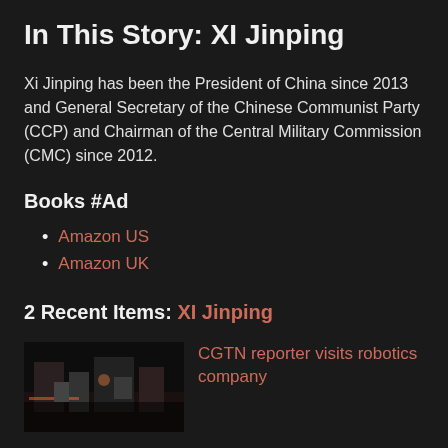In This Story: XI Jinping
Xi Jinping has been the President of China since 2013 and General Secretary of the Chinese Communist Party (CCP) and Chairman of the Central Military Commission (CMC) since 2012.
Books #Ad
Amazon US
Amazon UK
2 Recent Items: XI Jinping
[Figure (photo): Small thumbnail image showing robotics/industrial scene]
CGTN reporter visits robotics company